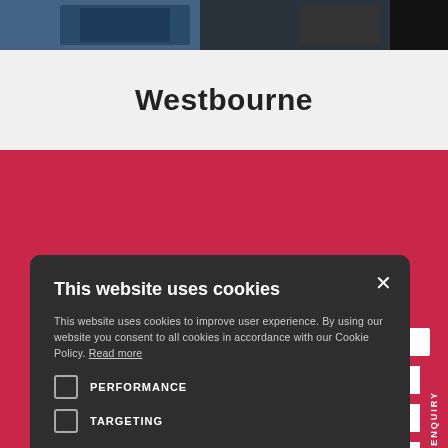[Figure (photo): Top strip showing a dark industrial/warehouse photo]
Westbourne
[Figure (screenshot): Cookie consent modal dialog on a red/white background page with Quick Enquiry sidebar]
This website uses cookies
This website uses cookies to improve user experience. By using our website you consent to all cookies in accordance with our Cookie Policy. Read more
PERFORMANCE
TARGETING
ACCEPT ALL
DECLINE ALL
SHOW DETAILS